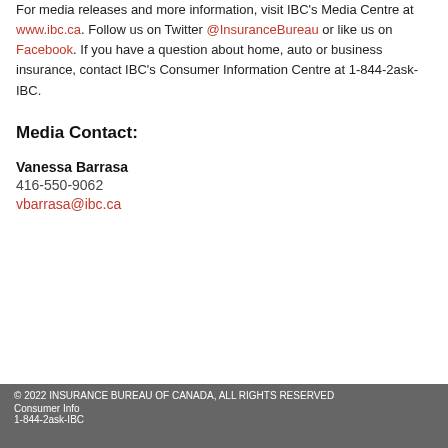For media releases and more information, visit IBC's Media Centre at www.ibc.ca. Follow us on Twitter @InsuranceBureau or like us on Facebook. If you have a question about home, auto or business insurance, contact IBC's Consumer Information Centre at 1-844-2ask-IBC.
Media Contact:
Vanessa Barrasa
416-550-9062
vbarrasa@ibc.ca
© 2022 INSURANCE BUREAU OF CANADA, ALL RIGHTS RESERVED
Consumer Info
1-844-2ask-IBC